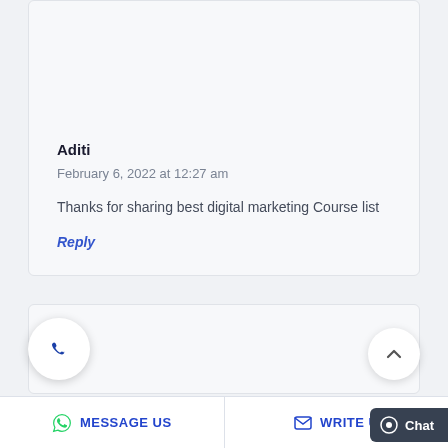Aditi
February 6, 2022 at 12:27 am
Thanks for sharing best digital marketing Course list
Reply
MESSAGE US   WRITE U   Chat